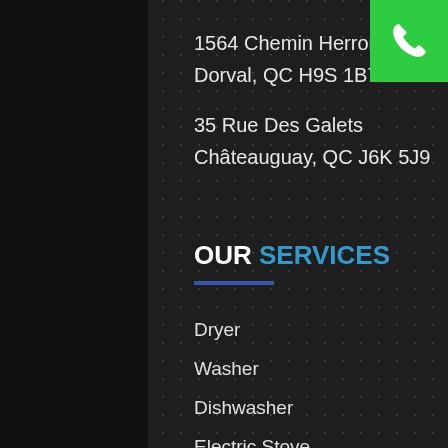1564 Chemin Herron #104
Dorval, QC H9S 1B7
35 Rue Des Galets
Châteauguay, QC J6K 5J9
OUR SERVICES
Dryer
Washer
Dishwasher
Electric Stove
Refrigerator
[Figure (illustration): Green phone call button icon in top right corner]